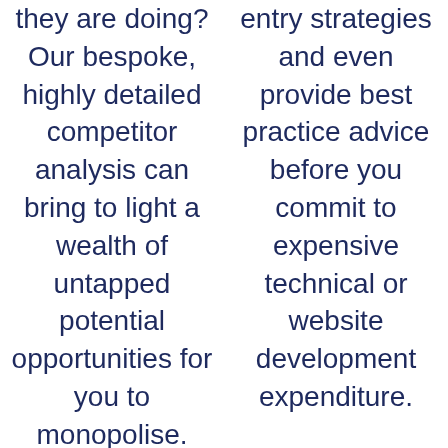they are doing? Our bespoke, highly detailed competitor analysis can bring to light a wealth of untapped potential opportunities for you to monopolise.
entry strategies and even provide best practice advice before you commit to expensive technical or website development expenditure.